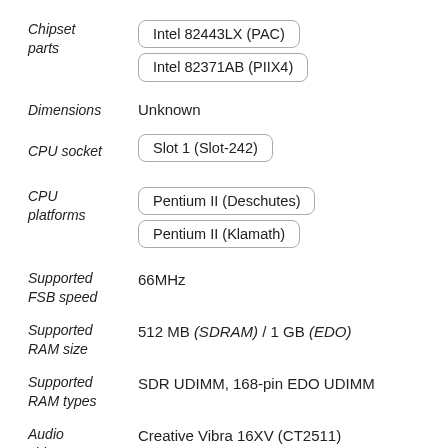Chipset parts: Intel 82443LX (PAC), Intel 82371AB (PIIX4)
Dimensions: Unknown
CPU socket: Slot 1 (Slot-242)
CPU platforms: Pentium II (Deschutes), Pentium II (Klamath)
Supported FSB speed: 66MHz
Supported RAM size: 512 MB (SDRAM) / 1 GB (EDO)
Supported RAM types: SDR UDIMM, 168-pin EDO UDIMM
Audio chipset: Creative Vibra 16XV (CT2511)
I/O ports